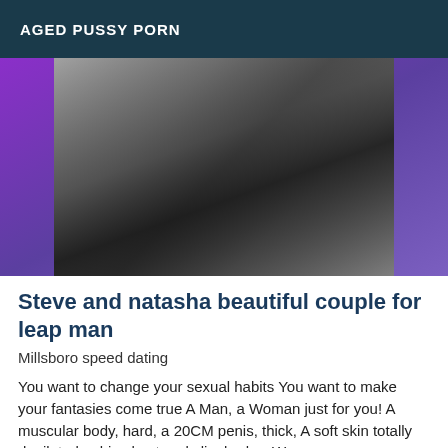AGED PUSSY PORN
[Figure (photo): A black and white intimate photo of two people on a purple/violet gradient background.]
Steve and natasha beautiful couple for leap man
Millsboro speed dating
You want to change your sexual habits You want to make your fantasies come true A Man, a Woman just for you! A muscular body, hard, a 20CM penis, thick, A soft skin totally depilated, a big chest and slim body... We are